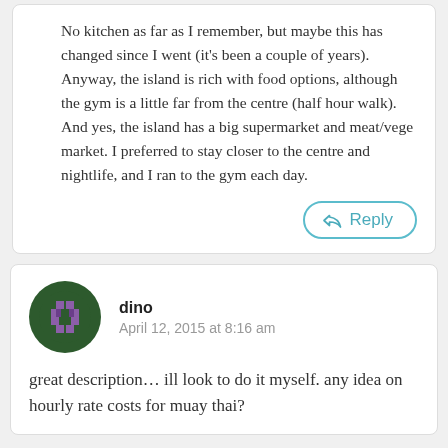No kitchen as far as I remember, but maybe this has changed since I went (it's been a couple of years). Anyway, the island is rich with food options, although the gym is a little far from the centre (half hour walk). And yes, the island has a big supermarket and meat/vege market. I preferred to stay closer to the centre and nightlife, and I ran to the gym each day.
dino
April 12, 2015 at 8:16 am
great description… ill look to do it myself. any idea on hourly rate costs for muay thai?